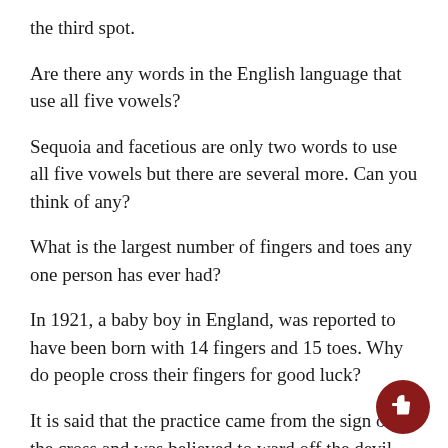the third spot.
Are there any words in the English language that use all five vowels?
Sequoia and facetious are only two words to use all five vowels but there are several more. Can you think of any?
What is the largest number of fingers and toes any one person has ever had?
In 1921, a baby boy in England, was reported to have been born with 14 fingers and 15 toes. Why do people cross their fingers for good luck?
It is said that the practice came from the sign of the cross and was believed to ward off the devil.
What was the highest magnitude earthquake in